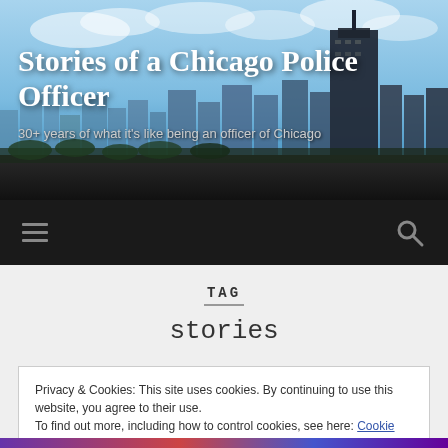[Figure (screenshot): Chicago skyline banner with blue sky, clouds, and tall skyscrapers including a prominent dark tower on the right]
Stories of a Chicago Police Officer
30+ years of what it's like being an officer of Chicago
[Figure (infographic): Dark navigation bar with hamburger menu icon on left and search magnifying glass icon on right]
TAG
stories
Privacy & Cookies: This site uses cookies. By continuing to use this website, you agree to their use.
To find out more, including how to control cookies, see here: Cookie Policy
Close and accept